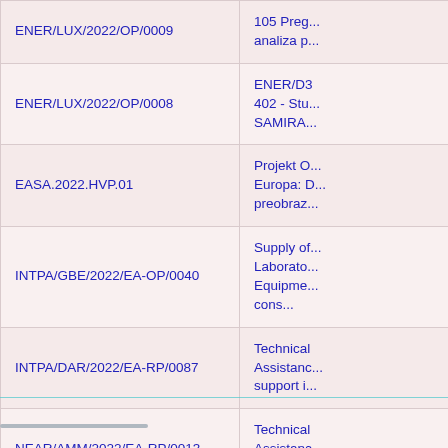| Reference | Description |
| --- | --- |
| ENER/LUX/2022/OP/0009 | 105 Preg... analiza p... |
| ENER/LUX/2022/OP/0008 | ENER/D3 402 - Stu... SAMIRA... |
| EASA.2022.HVP.01 | Projekt O... Europa: D... preobraz... |
| INTPA/GBE/2022/EA-OP/0040 | Supply of... Laborato... Equipme... cons... |
| INTPA/DAR/2022/EA-RP/0087 | Technical Assistanc... support i... |
| NEAR/AMM/2022/EA-RP/0013 | Technical Assistanc... Ministry o... |
| EISMEA/2021/OP/0016 | Višestruk... ugovor s otv... |